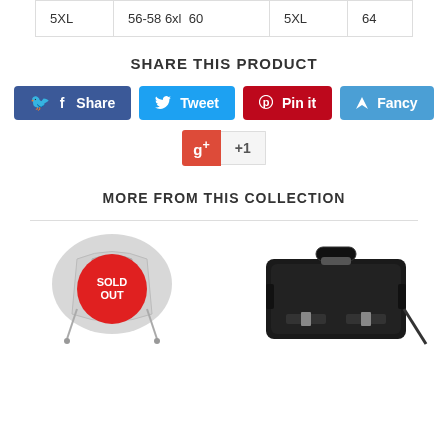| 5XL | 56-58 6xl  60 | 5XL | 64 |
SHARE THIS PRODUCT
[Figure (infographic): Social share buttons: Facebook Share, Twitter Tweet, Pinterest Pin it, Fancy, and Google+1]
MORE FROM THIS COLLECTION
[Figure (photo): Gray motorcycle saddlebag with SOLD OUT red circle badge overlay]
[Figure (photo): Black leather motorcycle saddlebag/luggage bag]